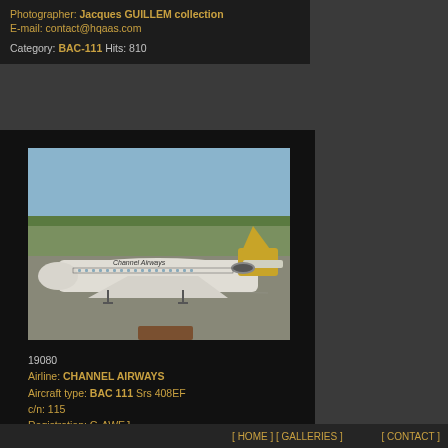Photographer: Jacques GUILLEM collection
E-mail: contact@hqaas.com
Category: BAC-111 Hits: 810
[Figure (photo): Black and white photograph of a Channel Airways BAC 111 aircraft on the tarmac at an airport, taxiing or parked, with grass and trees in the background.]
19080
Airline: CHANNEL AIRWAYS
Aircraft type: BAC 111 Srs 408EF
c/n: 115
Registration: G-AWEJ
Airport: ***
Date: ***
Remarks: Slide scan.
[ HOME ] [ GALLERIES ]     [ CONTACT ]